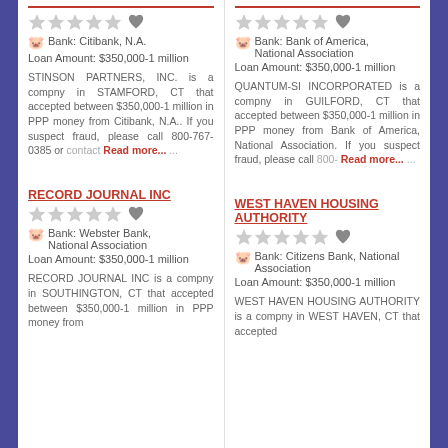Bank: Citibank, N.A.
Loan Amount: $350,000-1 million
STINSON PARTNERS, INC. is a compny in STAMFORD, CT that accepted between $350,000-1 million in PPP money from Citibank, N.A.. If you suspect fraud, please call 800-767-0385 or Read more...
Bank: Bank of America, National Association
Loan Amount: $350,000-1 million
QUANTUM-SI INCORPORATED is a compny in GUILFORD, CT that accepted between $350,000-1 million in PPP money from Bank of America, National Association. If you suspect fraud, please call Read more...
RECORD JOURNAL INC
Bank: Webster Bank, National Association
Loan Amount: $350,000-1 million
RECORD JOURNAL INC is a compny in SOUTHINGTON, CT that accepted between $350,000-1 million in PPP money from
WEST HAVEN HOUSING AUTHORITY
Bank: Citizens Bank, National Association
Loan Amount: $350,000-1 million
WEST HAVEN HOUSING AUTHORITY is a compny in WEST HAVEN, CT that accepted